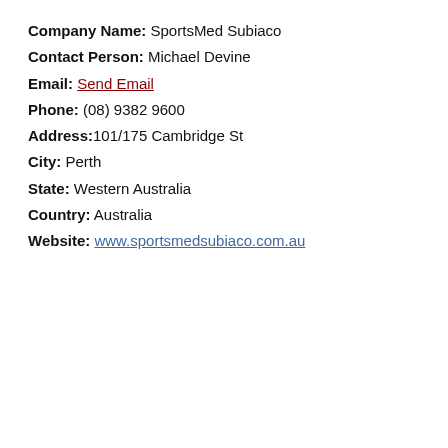Company Name: SportsMed Subiaco
Contact Person: Michael Devine
Email: Send Email
Phone: (08) 9382 9600
Address: 101/175 Cambridge St
City: Perth
State: Western Australia
Country: Australia
Website: www.sportsmedsubiaco.com.au